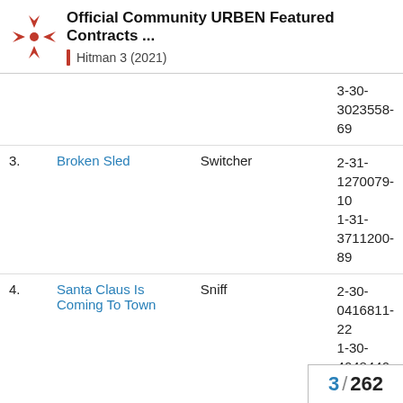Official Community URBEN Featured Contracts ... | Hitman 3 (2021)
| # | Name | Creator | Contract ID |
| --- | --- | --- | --- |
|  |  |  | 3-30-3023558-69 |
| 3. | Broken Sled | Switcher | 2-31-1270079-10
1-31-3711200-89 |
| 4. | Santa Claus Is Coming To Town | Sniff | 2-30-0416811-22
1-30-4048440-89
3-30-7664030-50 |
| 5. | Slashing The Slackers | Danger_dog_guy_7 | 2-28-2006628-11
1-28-4373406-89 |
3 / 262